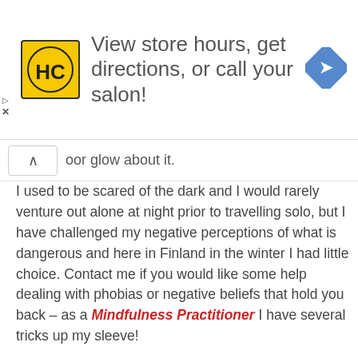[Figure (screenshot): Advertisement banner for HC (Hair Club or similar salon) with yellow logo, navigation arrow icon, and text 'View store hours, get directions, or call your salon!']
oor glow about it.
I used to be scared of the dark and I would rarely venture out alone at night prior to travelling solo, but I have challenged my negative perceptions of what is dangerous and here in Finland in the winter I had little choice. Contact me if you would like some help dealing with phobias or negative beliefs that hold you back – as a Mindfulness Practitioner I have several tricks up my sleeve!